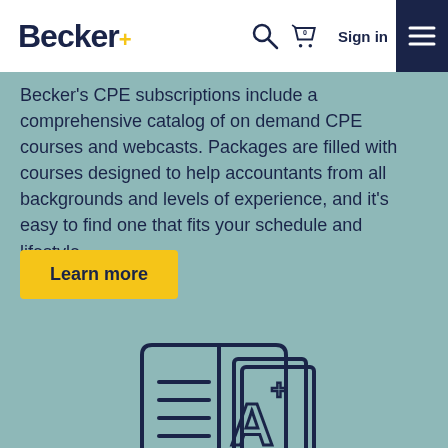Becker+ [navigation bar with search, cart, Sign in, and menu]
Becker's CPE subscriptions include a comprehensive catalog of on demand CPE courses and webcasts. Packages are filled with courses designed to help accountants from all backgrounds and levels of experience, and it's easy to find one that fits your schedule and lifestyle.
Learn more
[Figure (illustration): Open book icon with lines on left page and A+ grade on right page, with additional pages/books stacked behind, all in dark navy outline on teal background]